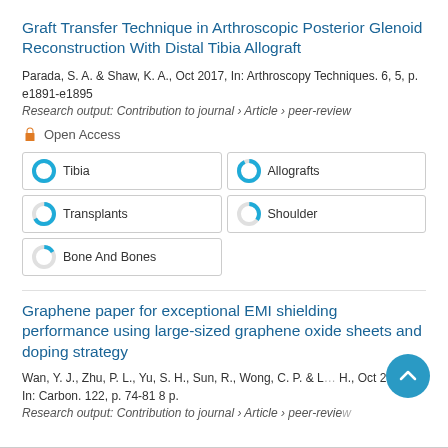Graft Transfer Technique in Arthroscopic Posterior Glenoid Reconstruction With Distal Tibia Allograft
Parada, S. A. & Shaw, K. A., Oct 2017, In: Arthroscopy Techniques. 6, 5, p. e1891-e1895
Research output: Contribution to journal › Article › peer-review
Open Access
Tibia
Allografts
Transplants
Shoulder
Bone And Bones
Graphene paper for exceptional EMI shielding performance using large-sized graphene oxide sheets and doping strategy
Wan, Y. J., Zhu, P. L., Yu, S. H., Sun, R., Wong, C. P. & L... H., Oct 2017, In: Carbon. 122, p. 74-81 8 p.
Research output: Contribution to journal › Article › peer-review